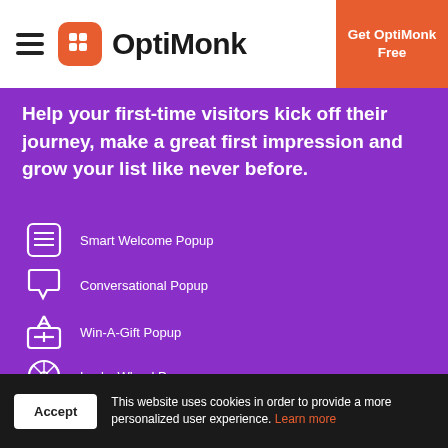[Figure (logo): OptiMonk logo with hamburger menu icon on the left and orange CTA button 'Get OptiMonk Free' on the right]
Help your first-time visitors kick off their journey, make a great first impression and grow your list like never before.
Smart Welcome Popup
Conversational Popup
Win-A-Gift Popup
Lucky Wheel Popup
Ebook Popup
This website uses cookies in order to provide a more personalized user experience. Learn more